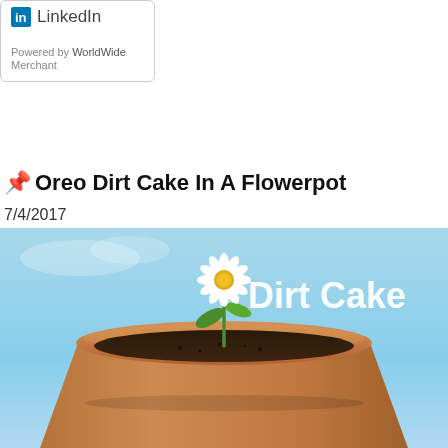[Figure (logo): LinkedIn logo box with 'Powered by WorldWide Merchant' text]
📌 Oreo Dirt Cake In A Flowerpot
7/4/2017
[Figure (photo): Photo of a terracotta flowerpot with dark soil and a small daisy flower growing from it against a blue sky background, with white text 'Dirt Cake' overlaid]